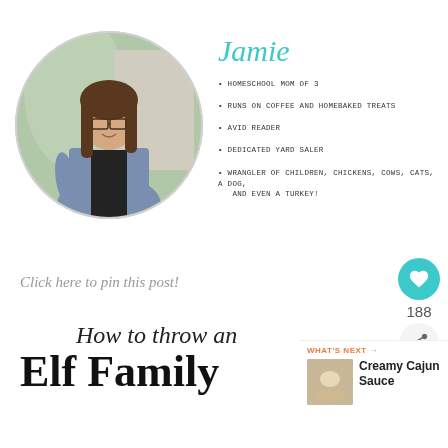[Figure (photo): Circular cropped photo of a woman named Jamie smiling, wearing a blue cardigan and black top, with trees/nature in the background]
Jamie
HOMESCHOOL MOM OF 3
RUNS ON COFFEE AND HOMEBAKED TREATS
AVID READER
DEDICATED YARD SALER
WRANGLER OF CHILDREN, CHICKENS, COWS, CATS, A DOG, AND EVEN A TURKEY!
Click here to pin this post!
188
How to throw an Elf Family